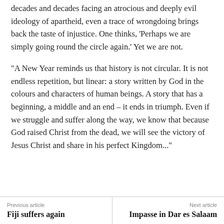decades and decades facing an atrocious and deeply evil ideology of apartheid, even a trace of wrongdoing brings back the taste of injustice. One thinks, 'Perhaps we are simply going round the circle again.' Yet we are not.
“A New Year reminds us that history is not circular. It is not endless repetition, but linear: a story written by God in the colours and characters of human beings. A story that has a beginning, a middle and an end – it ends in triumph. Even if we struggle and suffer along the way, we know that because God raised Christ from the dead, we will see the victory of Jesus Christ and share in his perfect Kingdom...”
Previous article: Fiji suffers again | Next article: Impasse in Dar es Salaam